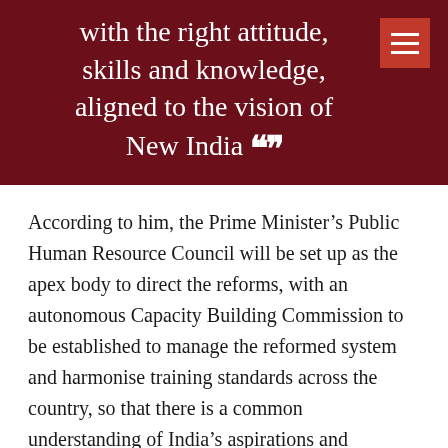with the right attitude, skills and knowledge, aligned to the vision of New India ””
According to him, the Prime Minister’s Public Human Resource Council will be set up as the apex body to direct the reforms, with an autonomous Capacity Building Commission to be established to manage the reformed system and harmonise training standards across the country, so that there is a common understanding of India’s aspirations and development goals. A wholly government